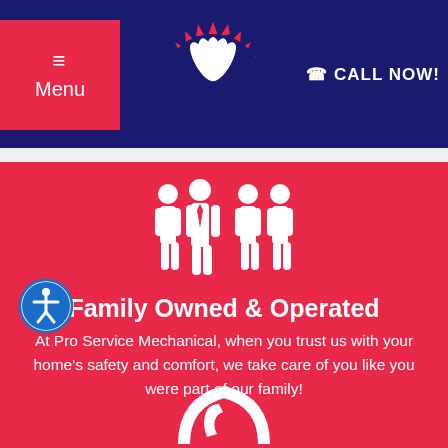Menu | Logo | CALL NOW!
[Figure (illustration): Family group icon - four white silhouette figures (family members) on red background]
Family Owned & Operated
At Pro Service Mechanical, when you trust us with your home's safety and comfort, we take care of you like you were part of our family!
[Figure (illustration): 24-hour phone/clock icon partially visible at bottom of red section]